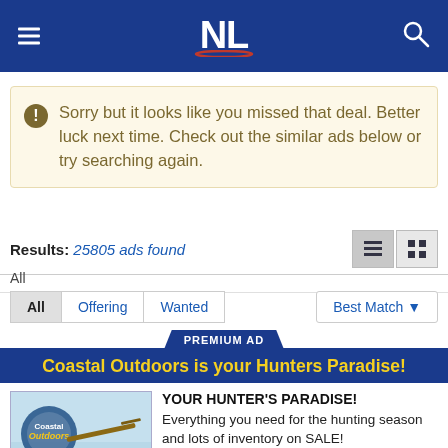NL - navigation header with menu and search
Sorry but it looks like you missed that deal. Better luck next time. Check out the similar ads below or try searching again.
Results: 25805 ads found
All
All | Offering | Wanted | Best Match
PREMIUM AD
Coastal Outdoors is your Hunters Paradise!
YOUR HUNTER'S PARADISE! Everything you need for the hunting season and lots of inventory on SALE!